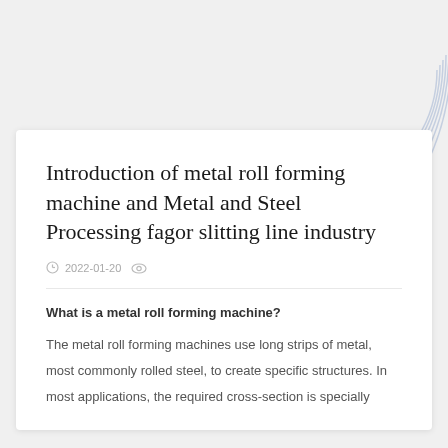[Figure (illustration): Decorative arc lines in light blue/gray in the top-right corner of the page background]
Introduction of metal roll forming machine and Metal and Steel Processing fagor slitting line industry
2022-01-20
What is a metal roll forming machine?
The metal roll forming machines use long strips of metal, most commonly rolled steel, to create specific structures. In most applications, the required cross-section is specially